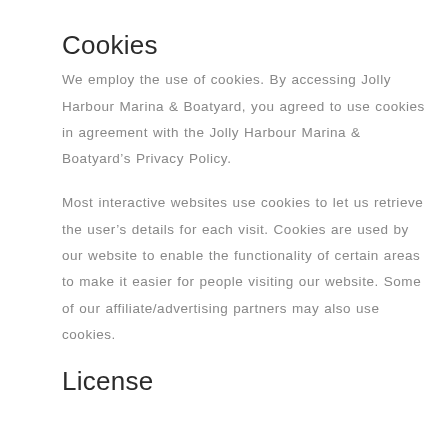Cookies
We employ the use of cookies. By accessing Jolly Harbour Marina & Boatyard, you agreed to use cookies in agreement with the Jolly Harbour Marina & Boatyard’s Privacy Policy.
Most interactive websites use cookies to let us retrieve the user’s details for each visit. Cookies are used by our website to enable the functionality of certain areas to make it easier for people visiting our website. Some of our affiliate/advertising partners may also use cookies.
License